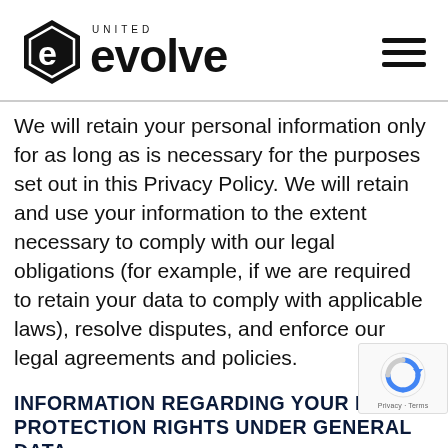[Figure (logo): Evolve United logo with hexagon icon and bold 'evolve' wordmark with 'UNITED' above]
We will retain your personal information only for as long as is necessary for the purposes set out in this Privacy Policy. We will retain and use your information to the extent necessary to comply with our legal obligations (for example, if we are required to retain your data to comply with applicable laws), resolve disputes, and enforce our legal agreements and policies.
INFORMATION REGARDING YOUR DATA PROTECTION RIGHTS UNDER GENERAL DATA